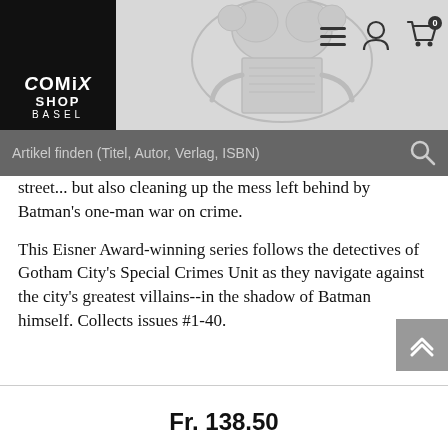[Figure (logo): Comix Shop Basel logo with three monkeys reading comics, black background, white text]
Artikel finden (Titel, Autor, Verlag, ISBN)
street... but also cleaning up the mess left behind by Batman's one-man war on crime.
This Eisner Award-winning series follows the detectives of Gotham City's Special Crimes Unit as they navigate against the city's greatest villains--in the shadow of Batman himself. Collects issues #1-40.
Fr. 138.50